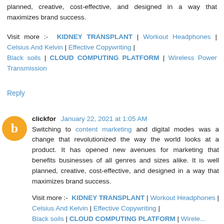planned, creative, cost-effective, and designed in a way that maximizes brand success.
Visit more :- KIDNEY TRANSPLANT | Workout Headphones | Celsius And Kelvin | Effective Copywriting | Black soils | CLOUD COMPUTING PLATFORM | Wireless Power Transmission
Reply
clickfor  January 22, 2021 at 1:05 AM
Switching to content marketing and digital modes was a change that revolutionized the way the world looks at a product. It has opened new avenues for marketing that benefits businesses of all genres and sizes alike. It is well planned, creative, cost-effective, and designed in a way that maximizes brand success.
Visit more :- KIDNEY TRANSPLANT | Workout Headphones | Celsius And Kelvin | Effective Copywriting | Black soils | CLOUD COMPUTING PLATFORM | Wireless...